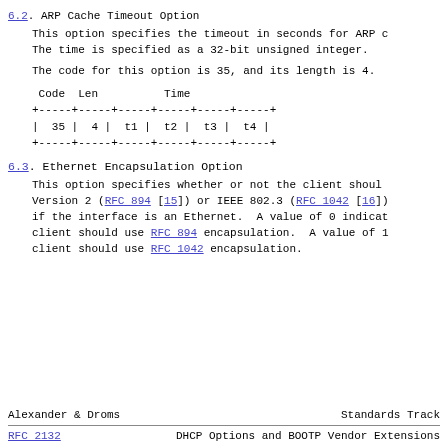6.2. ARP Cache Timeout Option
This option specifies the timeout in seconds for ARP c
The time is specified as a 32-bit unsigned integer.
The code for this option is 35, and its length is 4.
| Code | Len | Time |
| --- | --- | --- |
| 35 | 4 | t1 | t2 | t3 | t4 |
6.3. Ethernet Encapsulation Option
This option specifies whether or not the client shoul
Version 2 (RFC 894 [15]) or IEEE 802.3 (RFC 1042 [16])
if the interface is an Ethernet.  A value of 0 indicat
client should use RFC 894 encapsulation.  A value of 1
client should use RFC 1042 encapsulation.
Alexander & Droms          Standards Track
RFC 2132       DHCP Options and BOOTP Vendor Extensions